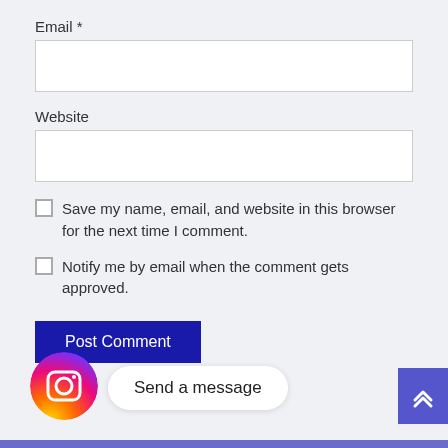Email *
Website
Save my name, email, and website in this browser for the next time I comment.
Notify me by email when the comment gets approved.
Post Comment
Send a message